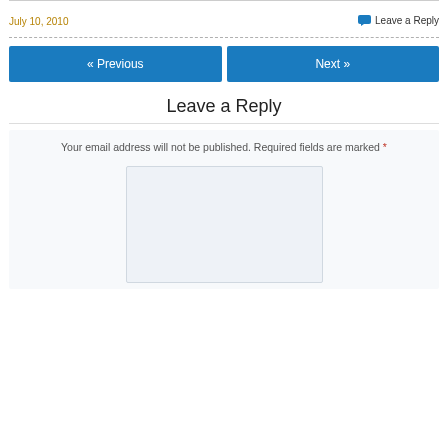July 10, 2010
Leave a Reply
« Previous
Next »
Leave a Reply
Your email address will not be published. Required fields are marked *